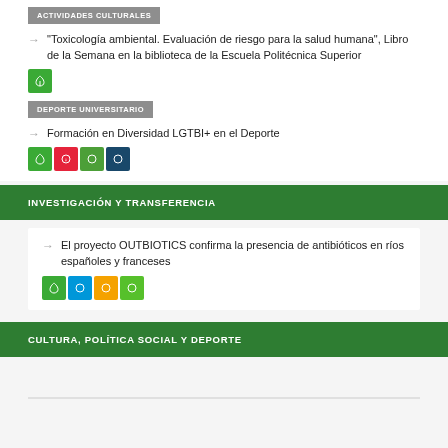ACTIVIDADES CULTURALES
"Toxicología ambiental. Evaluación de riesgo para la salud humana", Libro de la Semana en la biblioteca de la Escuela Politécnica Superior
DEPORTE UNIVERSITARIO
Formación en Diversidad LGTBI+ en el Deporte
INVESTIGACIÓN Y TRANSFERENCIA
El proyecto OUTBIOTICS confirma la presencia de antibióticos en ríos españoles y franceses
CULTURA, POLÍTICA SOCIAL Y DEPORTE